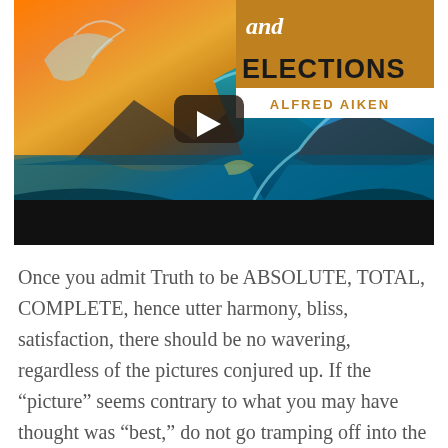[Figure (screenshot): Video thumbnail for a book titled '...and Elections' by Alfred Aiken. Shows a dramatic ocean wave with sunset background. A YouTube-style play button is centered on the image. The book cover overlay in the upper right shows 'and' in italic white and 'ELECTIONS' in bold black on an amber/brown background, with 'ALFRED AIKEN' in gold text on white. A black bar spans the bottom of the image.]
Once you admit Truth to be ABSOLUTE, TOTAL, COMPLETE, hence utter harmony, bliss, satisfaction, there should be no wavering, regardless of the pictures conjured up. If the “picture” seems contrary to what you may have thought was “best,” do not go tramping off into the woods and picnic with the suggestion, reacting to